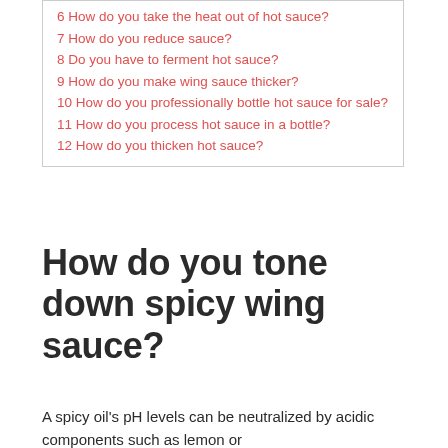6 How do you take the heat out of hot sauce?
7 How do you reduce sauce?
8 Do you have to ferment hot sauce?
9 How do you make wing sauce thicker?
10 How do you professionally bottle hot sauce for sale?
11 How do you process hot sauce in a bottle?
12 How do you thicken hot sauce?
How do you tone down spicy wing sauce?
A spicy oil's pH levels can be neutralized by acidic components such as lemon or